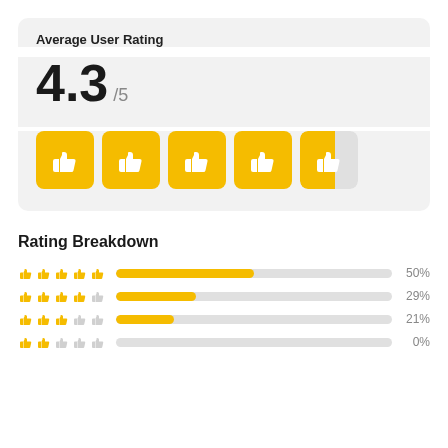Average User Rating
4.3 /5
[Figure (infographic): Five thumbs-up rating icons in gold/yellow squares; the 5th is half gold half grey indicating 4.3 out of 5 rating]
Rating Breakdown
[Figure (bar-chart): Rating Breakdown]